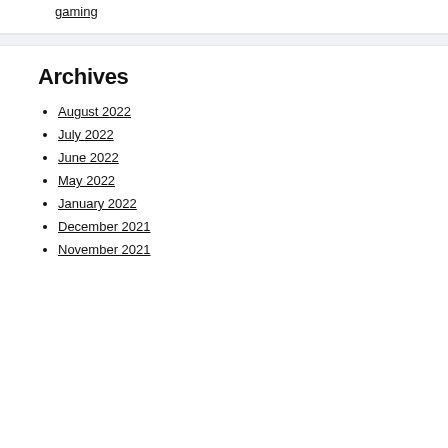gaming
Archives
August 2022
July 2022
June 2022
May 2022
January 2022
December 2021
November 2021